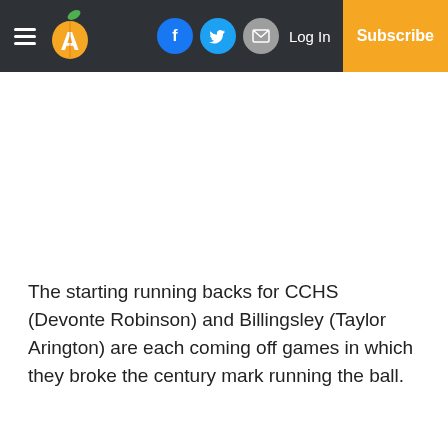Navigation bar with hamburger menu, logo (A), Facebook, Twitter, Email icons, Log In, Subscribe
The starting running backs for CCHS (Devonte Robinson) and Billingsley (Taylor Arington) are each coming off games in which they broke the century mark running the ball.